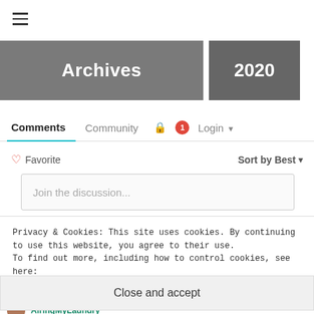[Figure (screenshot): Hamburger/menu icon with three horizontal lines]
[Figure (screenshot): Two banner/thumbnail images: one labeled 'Archives' on dark grey background, one labeled '2020' on dark grey background]
Comments   Community   🔒  1  Login ▼
♡ Favorite   Sort by Best ▼
Join the discussion...
LOG IN WITH
Privacy & Cookies: This site uses cookies. By continuing to use this website, you agree to their use.
To find out more, including how to control cookies, see here:
Cookie Policy
Close and accept
AiringMyLaundry